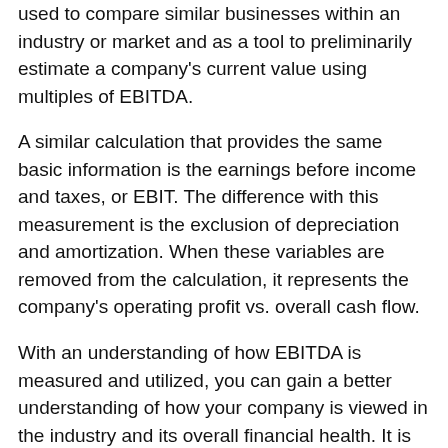used to compare similar businesses within an industry or market and as a tool to preliminarily estimate a company's current value using multiples of EBITDA.
A similar calculation that provides the same basic information is the earnings before income and taxes, or EBIT. The difference with this measurement is the exclusion of depreciation and amortization. When these variables are removed from the calculation, it represents the company's operating profit vs. overall cash flow.
With an understanding of how EBITDA is measured and utilized, you can gain a better understanding of how your company is viewed in the industry and its overall financial health. It is always optimal to have a more detailed independent measurement of value completed for your company, especially if you plan to sell, expand or refinance debt. A certified business appraisal will provide you with the overall value of your company, as well as information on the market, industry, competition, and the strengths and weaknesses of your company.